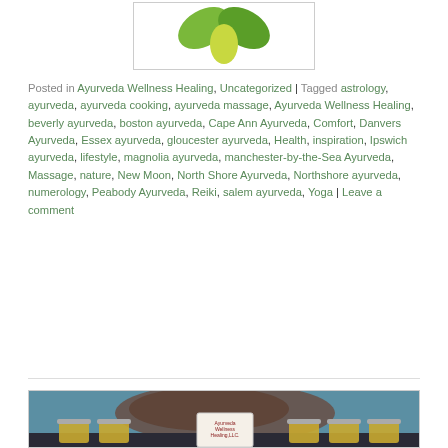[Figure (photo): Logo or illustration with green leaf shapes on white background, inside a bordered box]
Posted in Ayurveda Wellness Healing, Uncategorized | Tagged astrology, ayurveda, ayurveda cooking, ayurveda massage, Ayurveda Wellness Healing, beverly ayurveda, boston ayurveda, Cape Ann Ayurveda, Comfort, Danvers Ayurveda, Essex ayurveda, gloucester ayurveda, Health, inspiration, Ipswich ayurveda, lifestyle, magnolia ayurveda, manchester-by-the-Sea Ayurveda, Massage, nature, New Moon, North Shore Ayurveda, Northshore ayurveda, numerology, Peabody Ayurveda, Reiki, salem ayurveda, Yoga | Leave a comment
[Figure (photo): Photo of several glass jars filled with golden/yellow substance (ghee or oil) arranged in a row on a dark surface, with a blue textured wall background and an Ayurveda Wellness Healing LLC card/sign in the center]